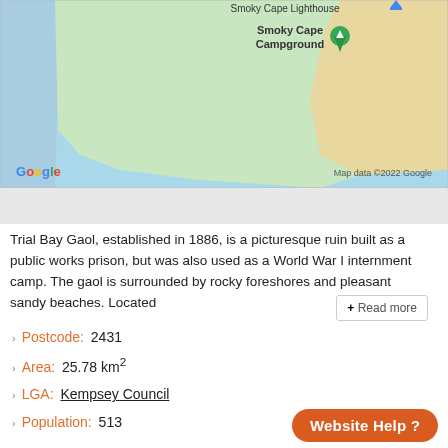[Figure (map): Google Maps screenshot showing Smoky Cape Lighthouse area, Smoky Cape Campground marker, green landmass, sandy beach strip, and blue water. Google logo bottom left, 'Map data ©2022 Google' bottom right.]
Trial Bay Gaol, established in 1886, is a picturesque ruin built as a public works prison, but was also used as a World War I internment camp. The gaol is surrounded by rocky foreshores and pleasant sandy beaches. Located
Postcode: 2431
Area: 25.78 km²
LGA: Kempsey Council
Population: 513